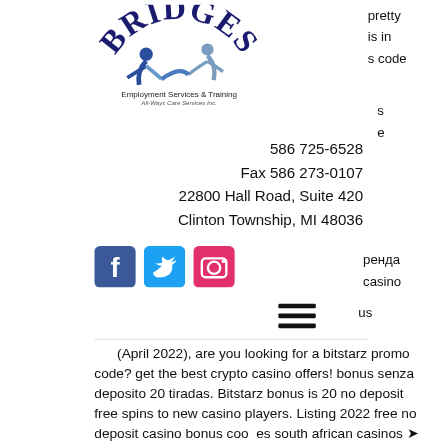[Figure (logo): Bridges Employment Services & Training All-Ways Care Services Inc. logo with two stylized figures and arched text]
pretty
is in
s code
s
e
586 725-6528
Fax 586 273-0107
22800 Hall Road, Suite 420
Clinton Township, MI 48036
[Figure (logo): Facebook icon (blue square with f)]
[Figure (logo): Twitter icon (blue square with bird)]
[Figure (logo): Instagram icon (pink square with camera)]
ренда
casino
[Figure (other): Hamburger menu icon (three horizontal lines)]
us
looking for a bitstarz promo code? get the best crypto casino offers! bonus senza deposito 20 tiradas. Bitstarz bonus is 20 no deposit free spins to new casino players. Listing 2022 free no deposit casino bonus codes south african casinos ➤ no. Bitstarz casino